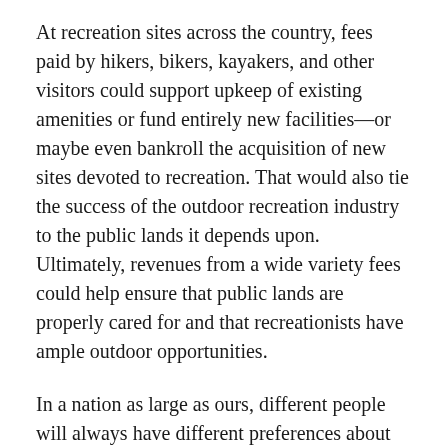At recreation sites across the country, fees paid by hikers, bikers, kayakers, and other visitors could support upkeep of existing amenities or fund entirely new facilities—or maybe even bankroll the acquisition of new sites devoted to recreation. That would also tie the success of the outdoor recreation industry to the public lands it depends upon. Ultimately, revenues from a wide variety fees could help ensure that public lands are properly cared for and that recreationists have ample outdoor opportunities.
In a nation as large as ours, different people will always have different preferences about which lands should be actively drilled, logged, or grazed and which ones should be open only to recreational use. Once hikers, climbers, and recreationists of all stripes are putting their money where they play, and helping fund recreation on public lands adequately, they'll have a much better case for setting aside additional lands for recreation. And if that happens, fights